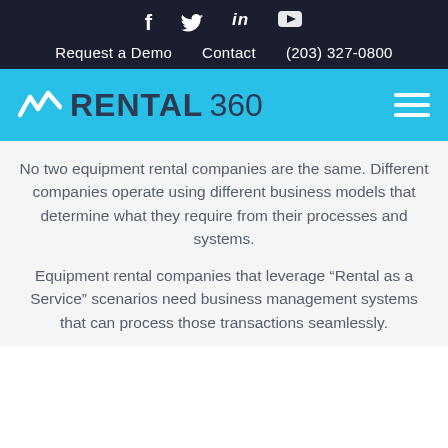f  🐦  in  ▶  Request a Demo  Contact  (203) 327-0800
[Figure (logo): Rental360 logo with zigzag mark on cyan/blue header bar with hamburger menu icon]
No two equipment rental companies are the same. Different companies operate using different business models that determine what they require from their processes and systems.
Equipment rental companies that leverage "Rental as a Service" scenarios need business management systems that can process those transactions seamlessly.